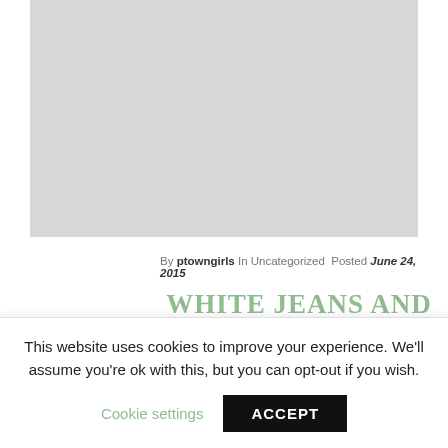[Figure (photo): Gray placeholder image at top of blog post]
By ptowngirls In Uncategorized Posted June 24, 2015
WHITE JEANS AND A SECRET GARDEN
I used to be so scared wearing anything white. Knowing myself, I would get that thing tarnished in minutes. But luckily this
This website uses cookies to improve your experience. We'll assume you're ok with this, but you can opt-out if you wish. Cookie settings ACCEPT